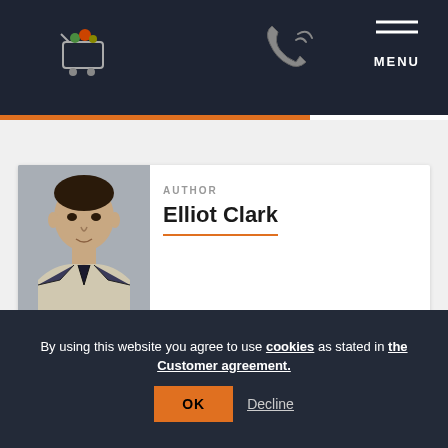Navigation bar with shopping cart icon, phone icon, and MENU
[Figure (screenshot): Author profile card showing a man in a suit with dark hair, labeled AUTHOR, name Elliot Clark with orange underline]
Author
By using this website you agree to use cookies as stated in the Customer agreement.
OK
Decline